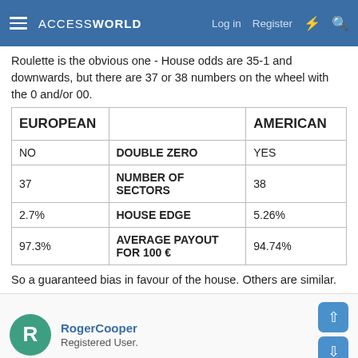ACCESSWORLD — Log in  Register
Roulette is the obvious one - House odds are 35-1 and downwards, but there are 37 or 38 numbers on the wheel with the 0 and/or 00.
| EUROPEAN |  | AMERICAN |
| --- | --- | --- |
| NO | DOUBLE ZERO | YES |
| 37 | NUMBER OF SECTORS | 38 |
| 2.7% | HOUSE EDGE | 5.26% |
| 97.3% | AVERAGE PAYOUT FOR 100 € | 94.74% |
So a guaranteed bias in favour of the house. Others are similar.
RogerCooper
Registered User.